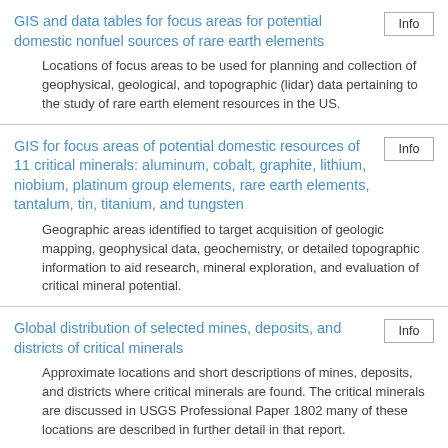GIS and data tables for focus areas for potential domestic nonfuel sources of rare earth elements
Locations of focus areas to be used for planning and collection of geophysical, geological, and topographic (lidar) data pertaining to the study of rare earth element resources in the US.
GIS for focus areas of potential domestic resources of 11 critical minerals: aluminum, cobalt, graphite, lithium, niobium, platinum group elements, rare earth elements, tantalum, tin, titanium, and tungsten
Geographic areas identified to target acquisition of geologic mapping, geophysical data, geochemistry, or detailed topographic information to aid research, mineral exploration, and evaluation of critical mineral potential.
Global distribution of selected mines, deposits, and districts of critical minerals
Approximate locations and short descriptions of mines, deposits, and districts where critical minerals are found. The critical minerals are discussed in USGS Professional Paper 1802 many of these locations are described in further detail in that report.